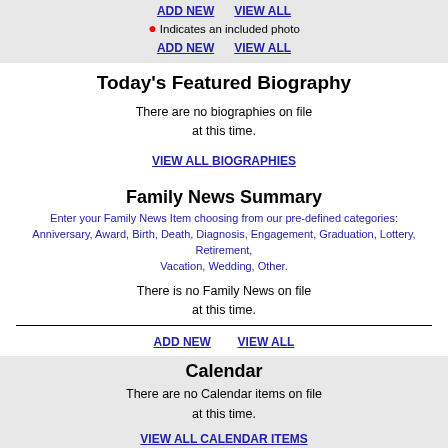ADD NEW   VIEW ALL
● Indicates an included photo
ADD NEW   VIEW ALL
Today's Featured Biography
There are no biographies on file at this time.
VIEW ALL BIOGRAPHIES
Family News Summary
Enter your Family News Item choosing from our pre-defined categories: Anniversary, Award, Birth, Death, Diagnosis, Engagement, Graduation, Lottery, Retirement, Vacation, Wedding, Other.
There is no Family News on file at this time.
ADD NEW   VIEW ALL
Calendar
There are no Calendar items on file at this time.
VIEW ALL CALENDAR ITEMS
Today's Featured Class Member Website
There are no websites on file